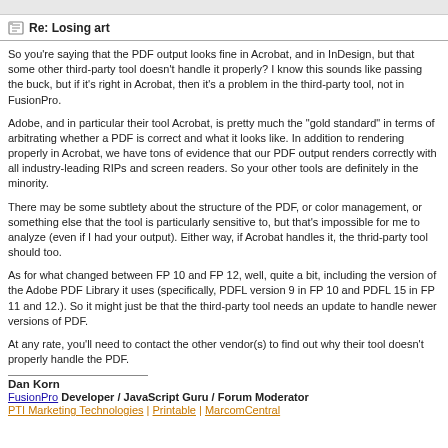Re: Losing art
So you're saying that the PDF output looks fine in Acrobat, and in InDesign, but that some other third-party tool doesn't handle it properly? I know this sounds like passing the buck, but if it's right in Acrobat, then it's a problem in the third-party tool, not in FusionPro.
Adobe, and in particular their tool Acrobat, is pretty much the "gold standard" in terms of arbitrating whether a PDF is correct and what it looks like. In addition to rendering properly in Acrobat, we have tons of evidence that our PDF output renders correctly with all industry-leading RIPs and screen readers. So your other tools are definitely in the minority.
There may be some subtlety about the structure of the PDF, or color management, or something else that the tool is particularly sensitive to, but that's impossible for me to analyze (even if I had your output). Either way, if Acrobat handles it, the thrid-party tool should too.
As for what changed between FP 10 and FP 12, well, quite a bit, including the version of the Adobe PDF Library it uses (specifically, PDFL version 9 in FP 10 and PDFL 15 in FP 11 and 12.). So it might just be that the third-party tool needs an update to handle newer versions of PDF.
At any rate, you'll need to contact the other vendor(s) to find out why their tool doesn't properly handle the PDF.
Dan Korn
FusionPro Developer / JavaScript Guru / Forum Moderator
PTI Marketing Technologies | Printable | MarcomCentral